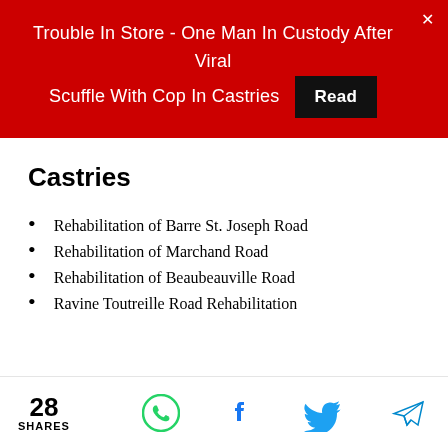Trouble In Store - One Man In Custody After Viral Scuffle With Cop In Castries  Read
Castries
Rehabilitation of Barre St. Joseph Road
Rehabilitation of Marchand Road
Rehabilitation of Beaubeauville Road
Ravine Toutreille Road Rehabilitation
28 SHARES